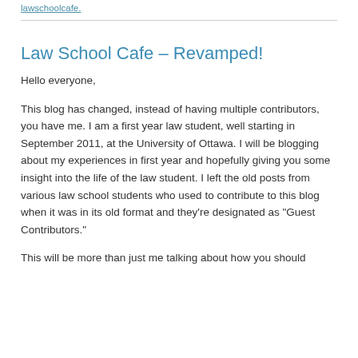lawschoolcafe.
Law School Cafe – Revamped!
Hello everyone,
This blog has changed, instead of having multiple contributors, you have me. I am a first year law student, well starting in September 2011, at the University of Ottawa. I will be blogging about my experiences in first year and hopefully giving you some insight into the life of the law student. I left the old posts from various law school students who used to contribute to this blog when it was in its old format and they're designated as "Guest Contributors."
This will be more than just me talking about how you should